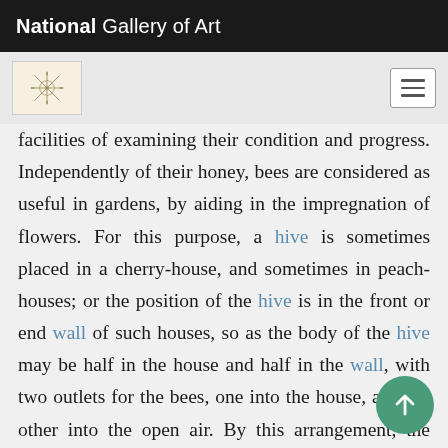National Gallery of Art
facilities of examining their condition and progress. Independently of their honey, bees are considered as useful in gardens, by aiding in the impregnation of flowers. For this purpose, a hive is sometimes placed in a cherry-house, and sometimes in peach-houses; or the position of the hive is in the front or end wall of such houses, so as the body of the hive may be half in the house and half in the wall, with two outlets for the bees, one into the house, and the other into the open air. By this arrangement, the bees can be admitted to the house and open air alternately, and excluded from either at pleas